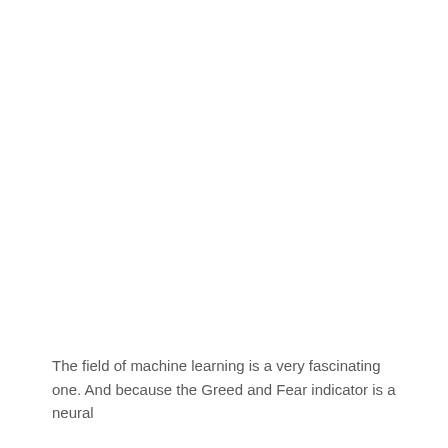The field of machine learning is a very fascinating one. And because the Greed and Fear indicator is a neural